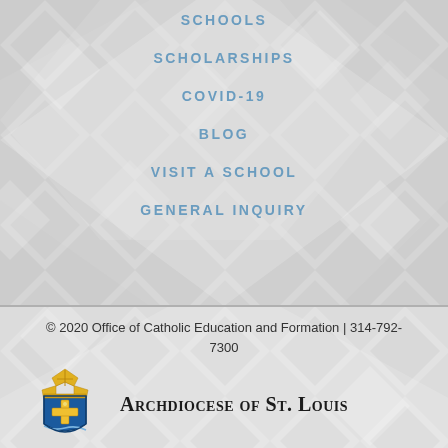SCHOOLS
SCHOLARSHIPS
COVID-19
BLOG
VISIT A SCHOOL
GENERAL INQUIRY
© 2020 Office of Catholic Education and Formation | 314-792-7300
[Figure (logo): Archdiocese of St. Louis crest logo with blue shield, gold cross, and bishop's mitre]
ARCHDIOCESE OF ST. LOUIS